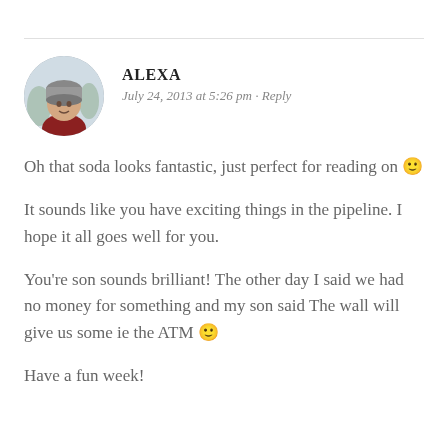[Figure (photo): Circular avatar photo of a woman wearing a grey winter hat and red jacket, outdoors in a snowy setting]
ALEXA
July 24, 2013 at 5:26 pm · Reply
Oh that soda looks fantastic, just perfect for reading on 🙂
It sounds like you have exciting things in the pipeline. I hope it all goes well for you.
You're son sounds brilliant! The other day I said we had no money for something and my son said The wall will give us some ie the ATM 🙂
Have a fun week!